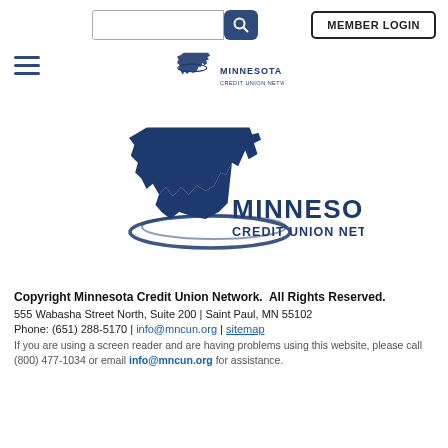[Figure (screenshot): Search input box and blue search button with magnifying glass icon]
[Figure (logo): Member Login button (top right)]
[Figure (logo): Hamburger menu icon (three horizontal lines, dark blue)]
[Figure (logo): Minnesota Credit Union Network small logo in header navigation area]
[Figure (logo): Minnesota Credit Union Network large logo - dark navy blue Minnesota state silhouette with swoosh and text MINNESOTA CREDIT UNION NETWORK]
Copyright Minnesota Credit Union Network.  All Rights Reserved.
555 Wabasha Street North, Suite 200 | Saint Paul, MN 55102
Phone: (651) 288-5170 | info@mncun.org | sitemap
If you are using a screen reader and are having problems using this website, please call (800) 477-1034 or email info@mncun.org for assistance.